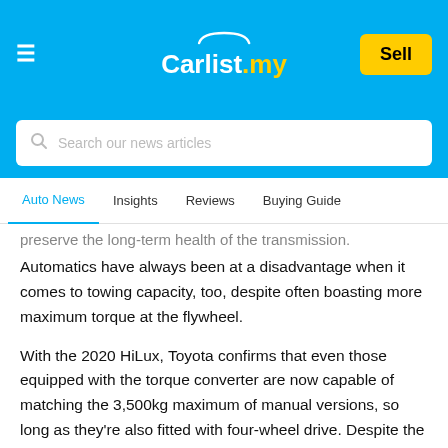Carlist.my
Search our news articles
Auto News   Insights   Reviews   Buying Guide
preserve the long-term health of the transmission. Automatics have always been at a disadvantage when it comes to towing capacity, too, despite often boasting more maximum torque at the flywheel.
With the 2020 HiLux, Toyota confirms that even those equipped with the torque converter are now capable of matching the 3,500kg maximum of manual versions, so long as they're also fitted with four-wheel drive. Despite the uprated diesel engine, Toyota claims fuel consumption has also improved.  Maximum payload